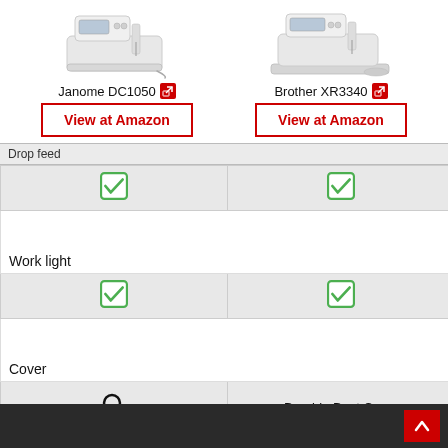[Figure (photo): Janome DC1050 sewing machine product photo]
[Figure (photo): Brother XR3340 sewing machine product photo]
Janome DC1050 [external link]
Brother XR3340 [external link]
View at Amazon
View at Amazon
Drop feed
| ✓ | ✓ |
| Work light |  |
| ✓ | ✓ |
| Cover |  |
| 🔍 | Durable Dust Cover |